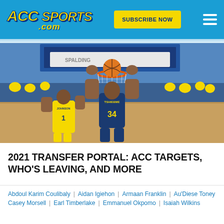ACC SPORTS .com | SUBSCRIBE NOW
[Figure (photo): Basketball player wearing jersey number 34 (TSHIEBWE) dunking over a defender (JOHNSON 1) in a college basketball game. Spalding backboard visible. Crowd in yellow/blue in background.]
2021 TRANSFER PORTAL: ACC TARGETS, WHO'S LEAVING, AND MORE
Abdoul Karim Coulibaly | Aidan Igiehon | Armaan Franklin | Au'Diese Toney | Casey Morsell | Earl Timberlake | Emmanuel Okpomo | Isaiah Wilkins